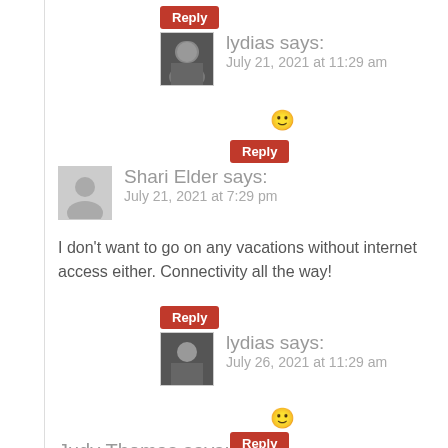Reply (button)
lydias says: July 21, 2021 at 11:29 am
🙂
Reply (button)
Shari Elder says: July 21, 2021 at 7:29 pm
I don't want to go on any vacations without internet access either. Connectivity all the way!
Reply (button)
lydias says: July 26, 2021 at 11:29 am
🙂
Reply (button)
Judy Thomas says: